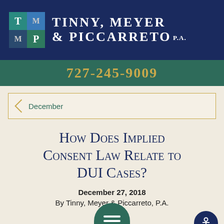[Figure (logo): Tinny, Meyer & Piccarreto, P.A. law firm logo with TMP letter squares and firm name in white on dark navy background]
727-245-9009
December
How Does Implied Consent Law Relate to DUI Cases?
December 27, 2018
By Tinny, Meyer & Piccarreto, P.A.